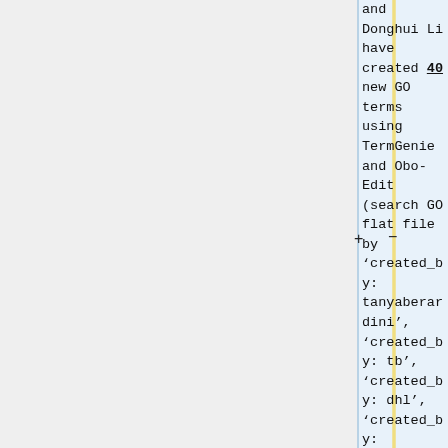and Donghui Li have created 40 new GO terms using TermGenie and Obo-Edit (search GO flat file by 'created_by: tanyaberardini', 'created_by: tb', 'created_by: dhl', 'created_by: donghui', date range: